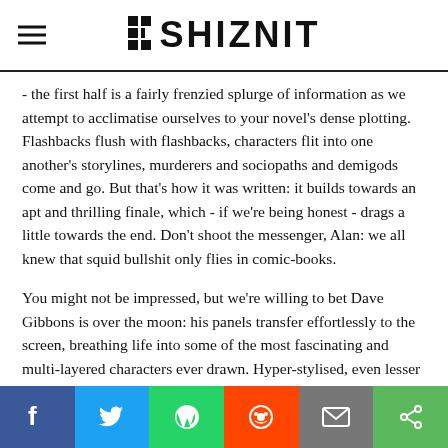THE SHIZNIT
- the first half is a fairly frenzied splurge of information as we attempt to acclimatise ourselves to your novel's dense plotting. Flashbacks flush with flashbacks, characters flit into one another's storylines, murderers and sociopaths and demigods come and go. But that's how it was written: it builds towards an apt and thrilling finale, which - if we're being honest - drags a little towards the end. Don't shoot the messenger, Alan: we all knew that squid bullshit only flies in comic-books.
You might not be impressed, but we're willing to bet Dave Gibbons is over the moon: his panels transfer effortlessly to the screen, breathing life into some of the most fascinating and multi-layered characters ever drawn. Hyper-stylised, even lesser scenes are framed to perfection, while action scenes play out in sumptuous slow-motion, and the eighties style gives it a unique fla... Th...